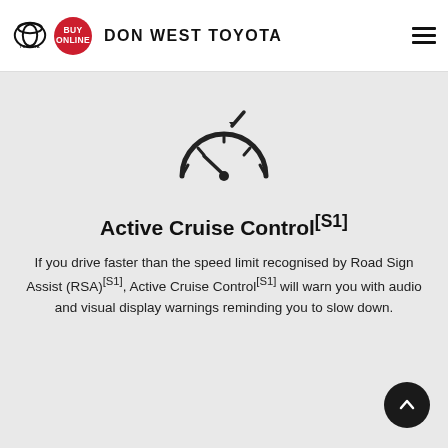DON WEST TOYOTA
[Figure (illustration): Speedometer icon with an arrow pointing to a lower speed, indicating speed reduction. Semi-circular gauge with tick marks and a needle.]
Active Cruise Control[S1]
If you drive faster than the speed limit recognised by Road Sign Assist (RSA)[S1], Active Cruise Control[S1] will warn you with audio and visual display warnings reminding you to slow down.